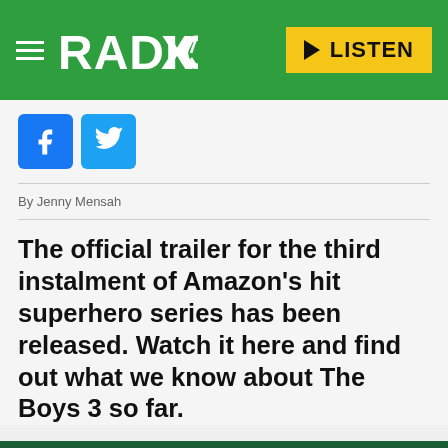RADIO X — LISTEN
[Figure (logo): Radio X logo with hamburger menu and LISTEN button on green background]
[Figure (infographic): Facebook and Twitter social share icon buttons]
By Jenny Mensah
The official trailer for the third instalment of Amazon's hit superhero series has been released. Watch it here and find out what we know about The Boys 3 so far.
Listen to this article